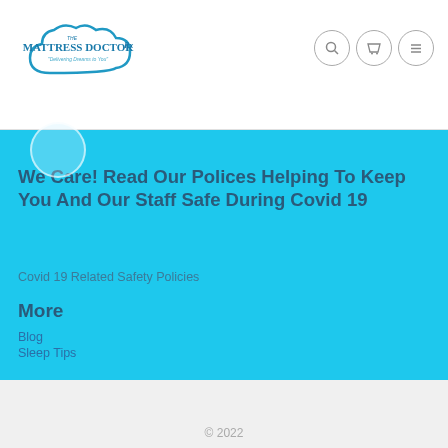[Figure (logo): The Mattress Doctor logo — cloud shape with text 'The Mattress Doctor Rx' and tagline 'Delivering Dreams to You']
We Care! Read Our Polices Helping To Keep You And Our Staff Safe During Covid 19
Covid 19 Related Safety Policies
More
Blog
Sleep Tips
© 2022